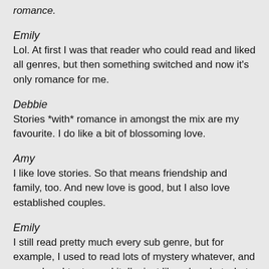romance.
Emily
Lol. At first I was that reader who could read and liked all genres, but then something switched and now it’s only romance for me.
Debbie
Stories *with* romance in amongst the mix are my favourite. I do like a bit of blossoming love.
Amy
I like love stories. So that means friendship and family, too. And new love is good, but I also love established couples.
Emily
I still read pretty much every sub genre, but for example, I used to read lots of mystery whatever, and now when I try to read it, I’m just like, okay, but what about the pairings? Do these two